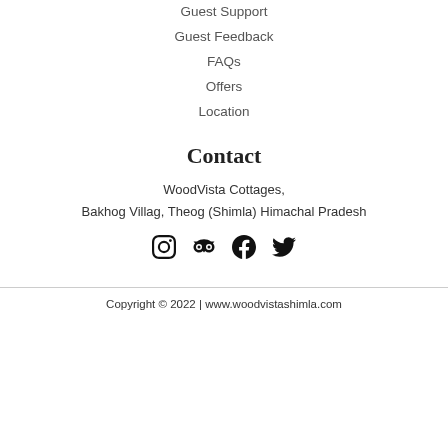Guest Support
Guest Feedback
FAQs
Offers
Location
Contact
WoodVista Cottages,
Bakhog Villag, Theog (Shimla) Himachal Pradesh
[Figure (infographic): Social media icons: Instagram, TripAdvisor, Facebook, Twitter]
Copyright © 2022 | www.woodvistashimla.com